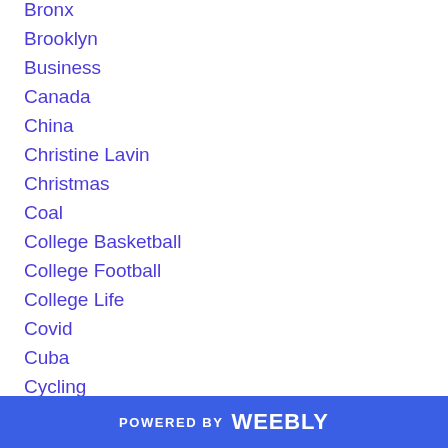Bronx
Brooklyn
Business
Canada
China
Christine Lavin
Christmas
Coal
College Basketball
College Football
College Life
Covid
Cuba
Cycling
Education
Family
POWERED BY weebly